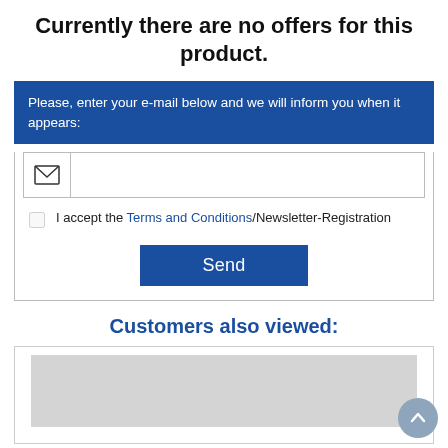Currently there are no offers for this product.
Please, enter your e-mail below and we will inform you when it appears:
[Figure (infographic): Email input form with icon, checkbox for Terms and Conditions/Newsletter-Registration, and Send button]
Customers also viewed:
[Figure (photo): Gray placeholder image for a product card]